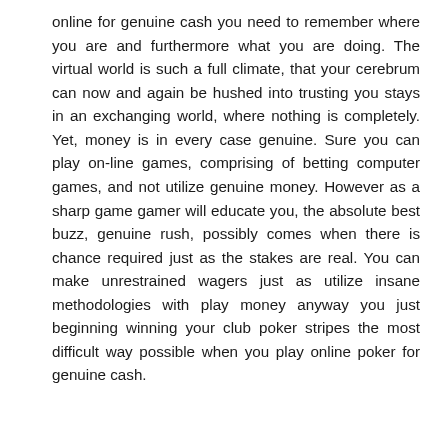online for genuine cash you need to remember where you are and furthermore what you are doing. The virtual world is such a full climate, that your cerebrum can now and again be hushed into trusting you stays in an exchanging world, where nothing is completely. Yet, money is in every case genuine. Sure you can play on-line games, comprising of betting computer games, and not utilize genuine money. However as a sharp game gamer will educate you, the absolute best buzz, genuine rush, possibly comes when there is chance required just as the stakes are real. You can make unrestrained wagers just as utilize insane methodologies with play money anyway you just beginning winning your club poker stripes the most difficult way possible when you play online poker for genuine cash.